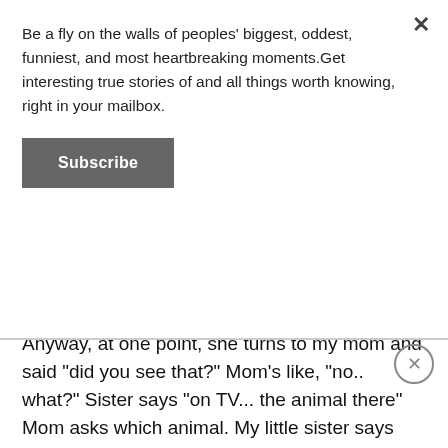Be a fly on the walls of peoples' biggest, oddest, funniest, and most heartbreaking moments.Get interesting true stories of and all things worth knowing, right in your mailbox.
Subscribe
Anyway, at one point, she turns to my mom and said "did you see that?" Mom's like, "no.. what?" Sister says "on TV... the animal there" Mom asks which animal. My little sister says "you know... (and then whispers) the octa-c**chie"
My sister was afraid to say octopus because she knew "pus" was a bad word.
We still talk about it to this day. To the point that I have since moved across the country and my